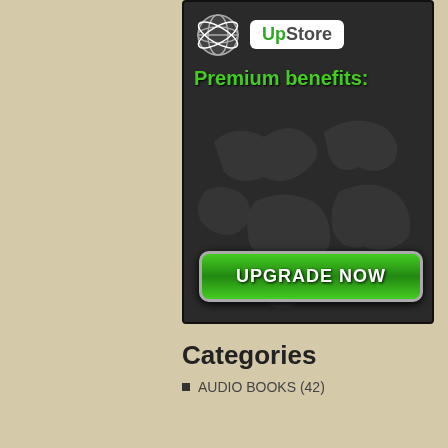[Figure (screenshot): UpStore premium benefits advertisement banner with dark background, globe logo, 'Premium benefits:' text in green, world map background, and 'UPGRADE NOW' green button]
Categories
AUDIO BOOKS (42)